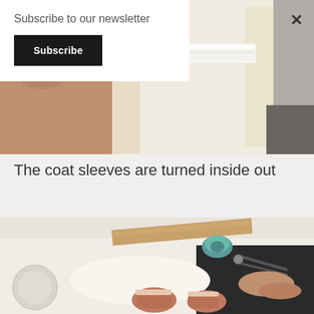[Figure (photo): Close-up photograph of coat/jacket construction showing fabric and white fluffy trim or lining, held by hands against a light background]
Subscribe to our newsletter
Subscribe
×
The coat sleeves are turned inside out
[Figure (photo): Hands working on small fabric pieces on a white surface, with a wooden dowel, spool of thread, scissors, and other tailoring tools in the background]